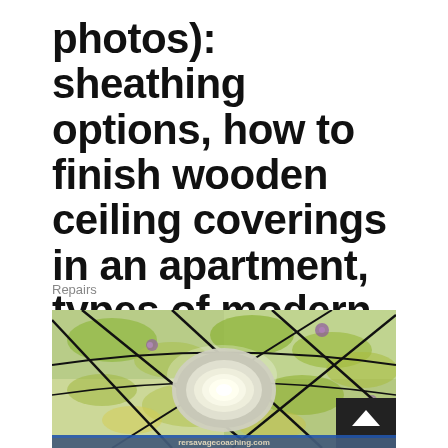photos): sheathing options, how to finish wooden ceiling coverings in an apartment, types of modern materials
Repairs
[Figure (photo): Decorative stained-glass style ceiling panels with colorful floral/leaf pattern in green, yellow, and purple tones, with a round flush-mount ceiling light fixture in the center. A dark scroll-up button overlay appears in the lower right. A watermark bar reading 'rersavagecoaching.com' appears at the bottom.]